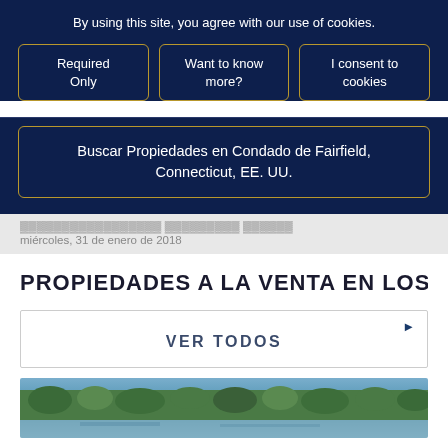By using this site, you agree with our use of cookies.
Required Only
Want to know more?
I consent to cookies
Buscar Propiedades en Condado de Fairfield, Connecticut, EE. UU.
miércoles, 31 de enero de 2018
PROPIEDADES A LA VENTA EN LOS A
VER TODOS
[Figure (photo): Aerial view of a forested waterfront area with trees and a lake or river visible]